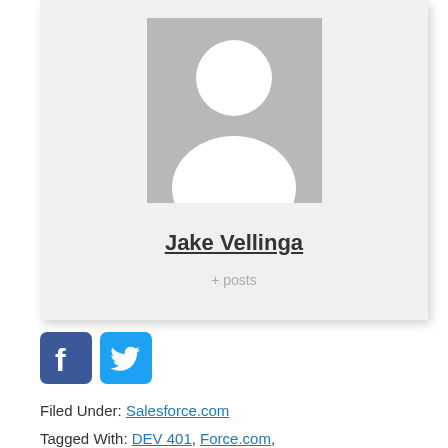[Figure (photo): Gray placeholder profile photo with white silhouette of a person (head and shoulders)]
Jake Vellinga
+ posts
[Figure (logo): Facebook and Twitter social media icon buttons (blue rounded squares)]
Filed Under: Salesforce.com
Tagged With: DEV 401, Force.com,